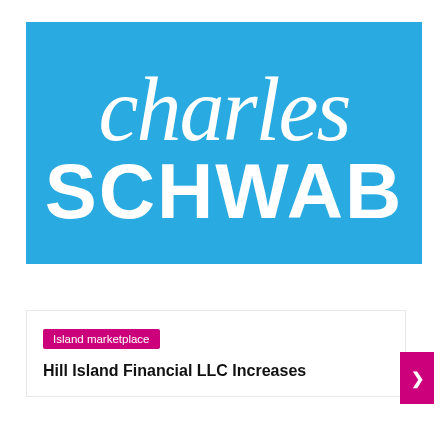[Figure (logo): Charles Schwab logo: cyan/teal blue rectangle background with white italic script text 'charles' on top and white bold sans-serif uppercase 'SCHWAB' below]
Island marketplace
Hill Island Financial LLC Increases